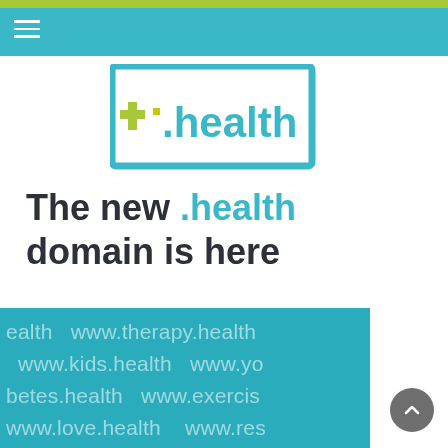Navigation bar with hamburger menu
[Figure (logo): .health domain logo — teal rectangular border with a yellow-green plus symbol and '.health' text in teal on white background]
The new .health domain is here
[Figure (infographic): Teal background block showing various .health domain URLs: www.therapy.health, www.kids.health, www.yo[ga].health, [dia]betes.health, www.exercise[.health], www.love.health, www.re[search.health], [www.]tele.health, www.cardio.he[alth], www.consumer.health, w[ww...]]